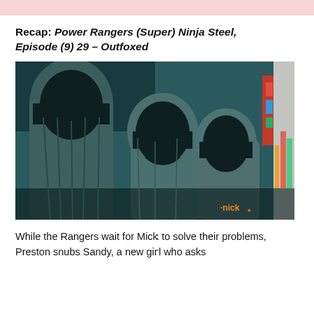Recap: Power Rangers (Super) Ninja Steel, Episode (9) 29 – Outfoxed
[Figure (photo): Three figures in dark hooded robes/cloaks facing left, shot in a dark teal-lit setting. Nickelodeon logo visible in lower-right corner. 'BACK TO TOP' sidebar navigation text visible on the right edge.]
While the Rangers wait for Mick to solve their problems, Preston snubs Sandy, a new girl who asks